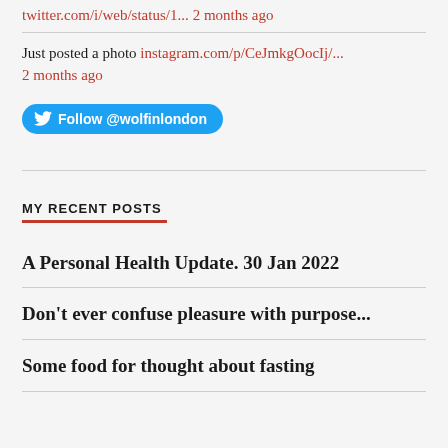twitter.com/i/web/status/1... 2 months ago
Just posted a photo instagram.com/p/CeJmkgOocIj/... 2 months ago
[Figure (other): Twitter Follow button: Follow @wolfinlondon]
MY RECENT POSTS
A Personal Health Update. 30 Jan 2022
Don't ever confuse pleasure with purpose...
Some food for thought about fasting